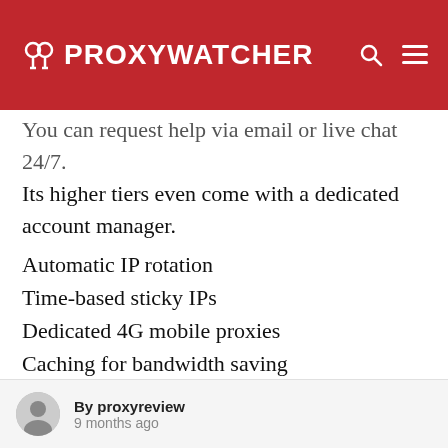PROXYWATCHER
You can request help via email or live chat 24/7. Its higher tiers even come with a dedicated account manager.
Automatic IP rotation
Time-based sticky IPs
Dedicated 4G mobile proxies
Caching for bandwidth saving
IPRoyal is among the best proxy platforms that has extensive network coverage. It includes top locations such as:
US
By proxyreview
9 months ago